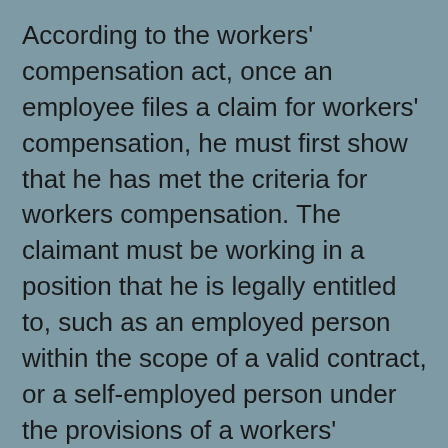According to the workers' compensation act, once an employee files a claim for workers' compensation, he must first show that he has met the criteria for workers compensation. The claimant must be working in a position that he is legally entitled to, such as an employed person within the scope of a valid contract, or a self-employed person under the provisions of a workers' agreement. In addition, the employee must also prove that an employer has acted in bad faith or reckless disregard of the right of workers to claim compensation when they are injured on the job.